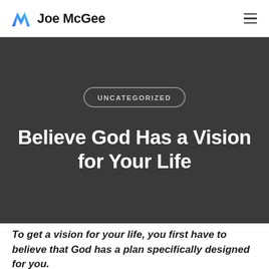Joe McGee
UNCATEGORIZED
Believe God Has a Vision for Your Life
To get a vision for your life, you first have to believe that God has a plan specifically designed for you.